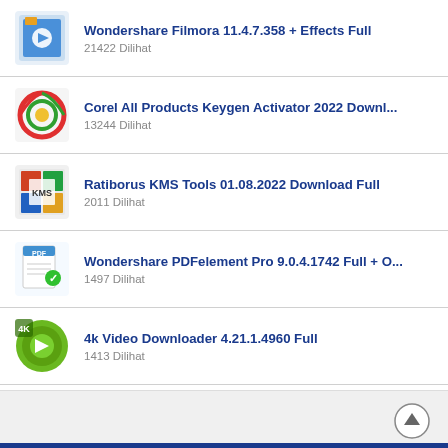Wondershare Filmora 11.4.7.358 + Effects Full
21422 Dilihat
Corel All Products Keygen Activator 2022 Downl...
13244 Dilihat
Ratiborus KMS Tools 01.08.2022 Download Full
2011 Dilihat
Wondershare PDFelement Pro 9.0.4.1742 Full + O...
1497 Dilihat
4k Video Downloader 4.21.1.4960 Full
1413 Dilihat
Rufus 3.20.1929 Free Download Final
993 Dilihat
Driver Talent Pro 8.0.9.56 Full
751 Dilihat